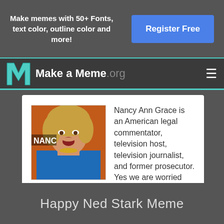Make memes with 50+ Fonts, text color, outline color and more!
Register Free
Make a Meme.org
[Figure (photo): Photo of Nancy Ann Grace, a blonde woman in a blue jacket with an open mouth expression, with text overlay showing 'NANC']
Nancy Ann Grace is an American legal commentator, television host, television journalist, and former prosecutor. Yes we are worried that there is a meme about her on our site!
[more]
Happy Ned Stark Meme